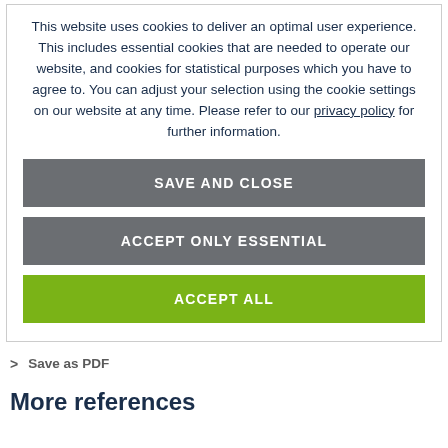This website uses cookies to deliver an optimal user experience. This includes essential cookies that are needed to operate our website, and cookies for statistical purposes which you have to agree to. You can adjust your selection using the cookie settings on our website at any time. Please refer to our privacy policy for further information.
SAVE AND CLOSE
ACCEPT ONLY ESSENTIAL
ACCEPT ALL
Save as PDF
More references